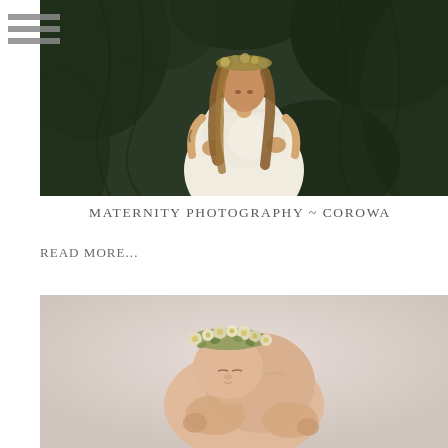[Figure (photo): Pregnant woman in white off-shoulder dress with flower crown, standing in front of lush green foliage]
MATERNITY PHOTOGRAPHY ~ COROWA
READ MORE...
[Figure (photo): Newborn baby with flower crown, posed curled up on pink background]